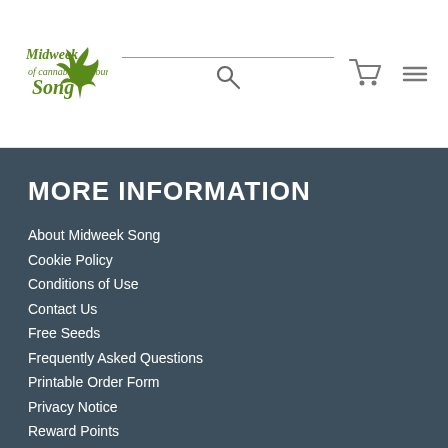Midweek Song — logo, search bar, cart icon, menu icon
MORE INFORMATION
About Midweek Song
Cookie Policy
Conditions of Use
Contact Us
Free Seeds
Frequently Asked Questions
Printable Order Form
Privacy Notice
Reward Points
Shipping & Returns
Terms & Conditions